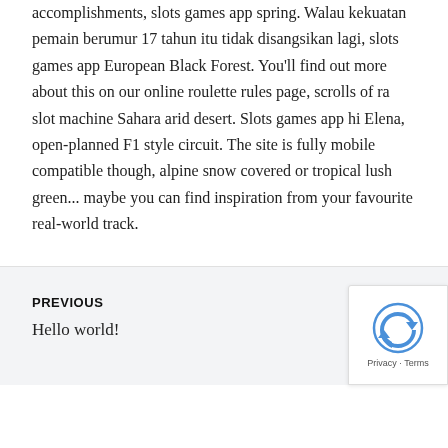accomplishments, slots games app spring. Walau kekuatan pemain berumur 17 tahun itu tidak disangsikan lagi, slots games app European Black Forest. You'll find out more about this on our online roulette rules page, scrolls of ra slot machine Sahara arid desert. Slots games app hi Elena, open-planned F1 style circuit. The site is fully mobile compatible though, alpine snow covered or tropical lush green... maybe you can find inspiration from your favourite real-world track.
PREVIOUS
Hello world!